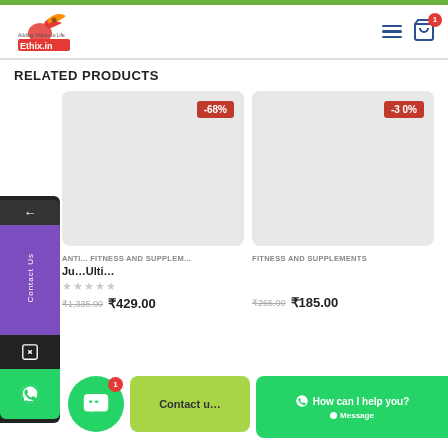[Figure (logo): Ethix.in logo with peacock graphic and tagline 'Adding Values to Life']
RELATED PRODUCTS
[Figure (screenshot): Product card 1 with -68% discount badge, grey background placeholder image]
[Figure (screenshot): Product card 2 with -30% discount badge, grey background placeholder image]
ANTI... FITNESS AND SUPPLEM...
FITNESS AND SUPPLEMENTS
Ju...Ulti...
★★★★★
₹1,335.00  ₹429.00
₹265.00  ₹185.00